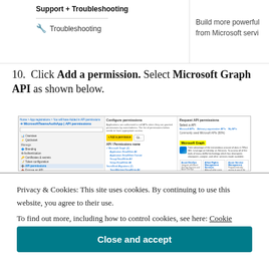[Figure (screenshot): Azure portal navigation showing Support + Troubleshooting menu item and Troubleshooting option, with partial text 'Build more powerful from Microsoft servi']
10. Click Add a permission. Select Microsoft Graph API as shown below.
[Figure (screenshot): Azure portal screenshot showing API permissions page with MicrosoftTeamsAuthApp | API permissions, Add a permission button highlighted in yellow, and the right panel showing Select an API with Microsoft Graph highlighted in yellow, along with various API service tiles]
Privacy & Cookies: This site uses cookies. By continuing to use this website, you agree to their use.
To find out more, including how to control cookies, see here: Cookie Policy
Close and accept